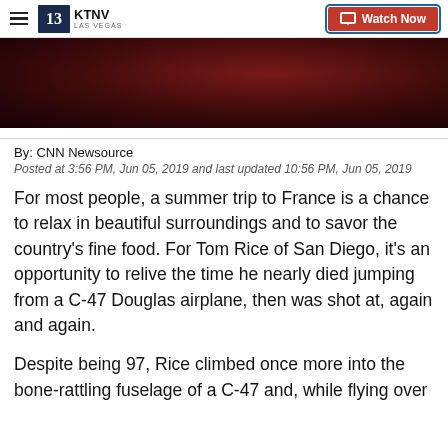KTNV LAS VEGAS | Watch Now
[Figure (photo): Dark reddish-toned hero image, partially visible, appears to show a person or scene with dramatic red/dark lighting.]
By: CNN Newsource
Posted at 3:56 PM, Jun 05, 2019 and last updated 10:56 PM, Jun 05, 2019
For most people, a summer trip to France is a chance to relax in beautiful surroundings and to savor the country's fine food. For Tom Rice of San Diego, it's an opportunity to relive the time he nearly died jumping from a C-47 Douglas airplane, then was shot at, again and again.
Despite being 97, Rice climbed once more into the bone-rattling fuselage of a C-47 and, while flying over